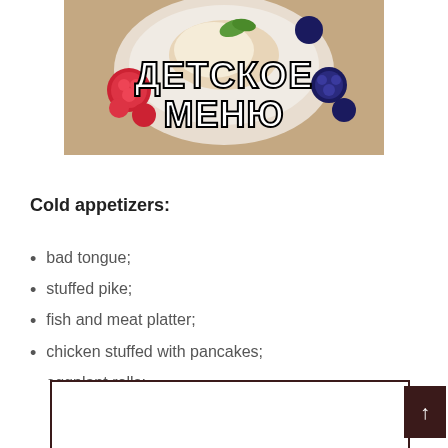[Figure (photo): Children's menu banner image showing desserts with berries (raspberries, blueberries) and cream on a plate, with bold Russian text 'ДЕТСКОЕ МЕНЮ' (Children's Menu) overlaid in white with black stroke]
Cold appetizers:
bad tongue;
stuffed pike;
fish and meat platter;
chicken stuffed with pancakes;
eggplant rolls;
liver cake.